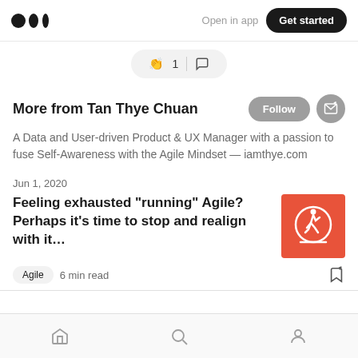Medium — Open in app — Get started
[Figure (infographic): Clap icon with count 1 and comment bubble icon in a pill-shaped container]
More from Tan Thye Chuan
A Data and User-driven Product & UX Manager with a passion to fuse Self-Awareness with the Agile Mindset — iamthye.com
Jun 1, 2020
Feeling exhausted “running” Agile? Perhaps it’s time to stop and realign with it…
[Figure (illustration): Red square thumbnail with running figure icon]
Agile   6 min read
Home | Search | Profile